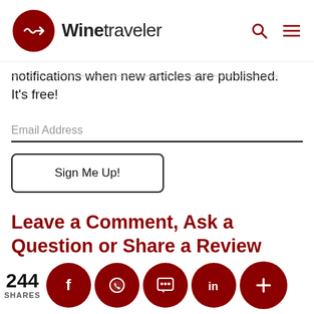Winetraveler
notifications when new articles are published. It's free!
Email Address
Sign Me Up!
Leave a Comment, Ask a Question or Share a Review
Enter your comment here...
244 SHARES